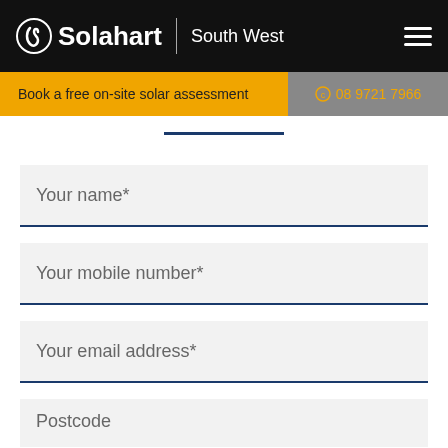Solahart South West
Book a free on-site solar assessment
08 9721 7966
Your name*
Your mobile number*
Your email address*
Postcode